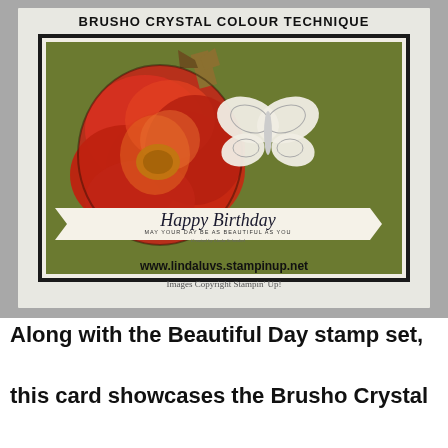[Figure (photo): A handmade birthday card featuring a large red rose with orange tones on an olive green background, a white die-cut butterfly, and a banner reading 'Happy Birthday / MAY YOUR DAY BE AS BEAUTIFUL AS YOU / Created by Linda Schnabel'. Above the card: 'BRUSHO CRYSTAL COLOUR TECHNIQUE'. Below: 'www.lindaluvs.stampinup.net' and 'Images Copyright Stampin' Up!'. The card is displayed on a grey background.]
Along with the Beautiful Day stamp set, this card showcases the Brusho Crystal